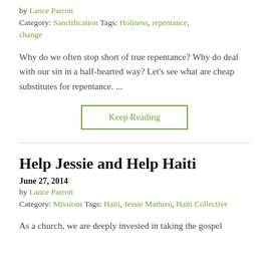by Lance Parrott
Category: Sanctification Tags: Holiness, repentance, change
Why do we often stop short of true repentance? Why do deal with our sin in a half-hearted way? Let's see what are cheap substitutes for repentance. ...
Keep Reading
Help Jessie and Help Haiti
June 27, 2014
by Lance Parrott
Category: Missions Tags: Haiti, Jessie Mathieu, Haiti Collective
As a church, we are deeply invested in taking the gospel